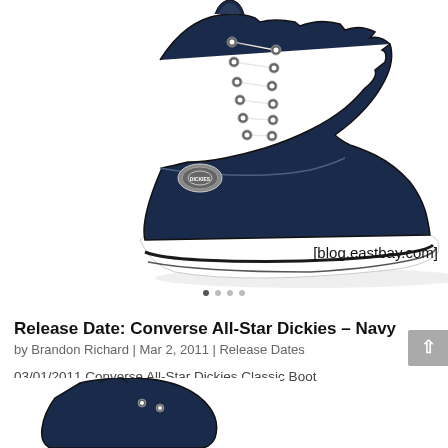[Figure (photo): Dark navy Converse All-Star Dickies Classic Boot high-top sneaker, shown from the side against a white background. The shoe has a navy canvas upper with white lace eyelets, a white rubber sole with a black stripe, and a Dickies logo badge on the side. Watermark text reads [blog.eastbay.com] in bottom right.]
Release Date: Converse All-Star Dickies – Navy
by Brandon Richard | Mar 2, 2011 | Release Dates
03/01/2011 Converse All-Star Dickies Classic Boot
122061 Dark Navy
$59.99
[Figure (photo): Partial view of another dark navy Converse All-Star Dickies Classic Boot, cropped at the bottom of the page showing the upper portion of the shoe.]